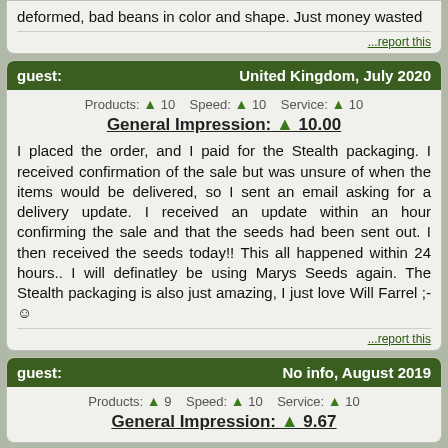deformed, bad beans in color and shape. Just money wasted
...report this
guest:  United Kingdom, July 2020
Products: 10  Speed: 10  Service: 10  General Impression: 10.00
I placed the order, and I paid for the Stealth packaging. I received confirmation of the sale but was unsure of when the items would be delivered, so I sent an email asking for a delivery update. I received an update within an hour confirming the sale and that the seeds had been sent out. I then received the seeds today!! This all happened within 24 hours.. I will definatley be using Marys Seeds again. The Stealth packaging is also just amazing, I just love Will Farrel ;- 
...report this
guest:  No info, August 2019
Products: 9  Speed: 10  Service: 10  General Impression: 9.67